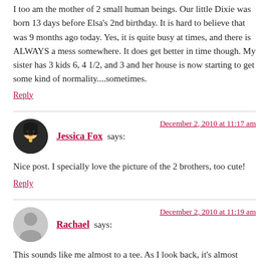I too am the mother of 2 small human beings. Our little Dixie was born 13 days before Elsa's 2nd birthday. It is hard to believe that was 9 months ago today. Yes, it is quite busy at times, and there is ALWAYS a mess somewhere. It does get better in time though. My sister has 3 kids 6, 4 1/2, and 3 and her house is now starting to get some kind of normality....sometimes.
Reply
Jessica Fox says:
December 2, 2010 at 11:17 am
Nice post. I specially love the picture of the 2 brothers, too cute!
Reply
Rachael says:
December 2, 2010 at 11:19 am
This sounds like me almost to a tee. As I look back, it's almost